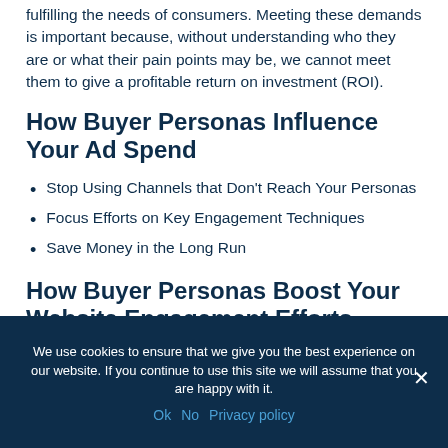fulfilling the needs of consumers. Meeting these demands is important because, without understanding who they are or what their pain points may be, we cannot meet them to give a profitable return on investment (ROI).
How Buyer Personas Influence Your Ad Spend
Stop Using Channels that Don't Reach Your Personas
Focus Efforts on Key Engagement Techniques
Save Money in the Long Run
How Buyer Personas Boost Your Website Engagement Efforts
Adjust the Style & Tone of Your Messaging
We use cookies to ensure that we give you the best experience on our website. If you continue to use this site we will assume that you are happy with it.